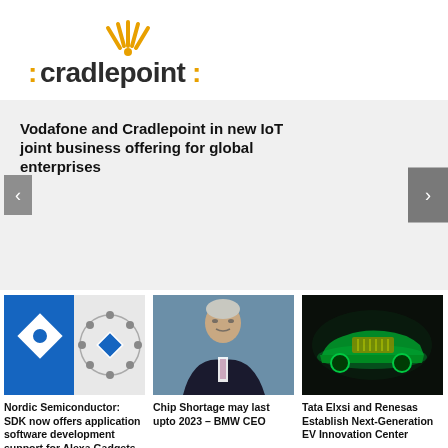[Figure (logo): Cradlepoint logo with orange antenna icon above orange and dark text]
Vodafone and Cradlepoint in new IoT joint business offering for global enterprises
[Figure (photo): Nordic Semiconductor SDK app for Alexa Gadgets - blue diamond logo and circular icon wheel]
Nordic Semiconductor: SDK now offers application software development support for Alexa Gadgets
[Figure (photo): BMW CEO portrait photo - man in dark suit with pink tie]
Chip Shortage may last upto 2023 – BMW CEO
[Figure (photo): Tata Elxsi and Renesas EV innovation center - green glowing futuristic car render]
Tata Elxsi and Renesas Establish Next-Generation EV Innovation Center